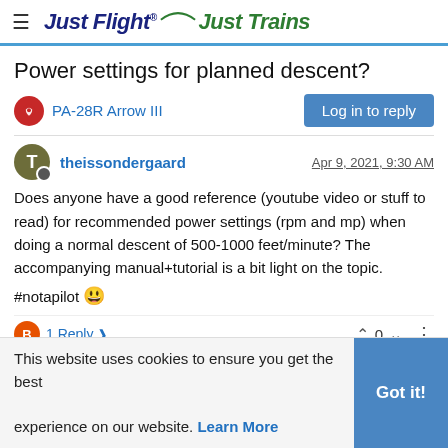Just Flight Just Trains
Power settings for planned descent?
PA-28R Arrow III
theissondergaard  Apr 9, 2021, 9:30 AM
Does anyone have a good reference (youtube video or stuff to read) for recommended power settings (rpm and mp) when doing a normal descent of 500-1000 feet/minute? The accompanying manual+tutorial is a bit light on the topic.
#notapilot 🙂
1 Reply >   0
This website uses cookies to ensure you get the best experience on our website. Learn More